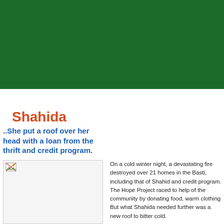[Figure (photo): Large dark green banner/header image at top of page]
Shahida
..She put a roof over her head with a loan from the thrift and credit program.
[Figure (photo): Photo placeholder image (broken image icon)]
On a cold winter night, a devastating fire destroyed over 21 homes in the Basti, including that of Shahida and credit program. The Hope Project raced to help of the community by donating food, warm clothing But what Shahida needed further was a new roof to bitter cold.